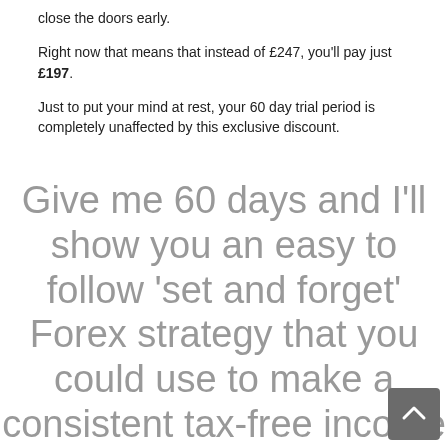close the doors early.
Right now that means that instead of £247, you'll pay just £197.
Just to put your mind at rest, your 60 day trial period is completely unaffected by this exclusive discount.
Give me 60 days and I'll show you an easy to follow 'set and forget' Forex strategy that you could use to make a consistent tax-free income